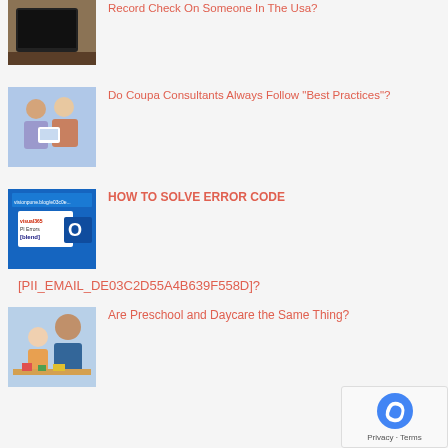[Figure (photo): Laptop on a wooden desk, top-down view]
Record Check On Someone In The Usa?
[Figure (photo): Two businessmen looking at a tablet together]
Do Coupa Consultants Always Follow “Best Practices”?
[Figure (screenshot): Blue graphic showing Microsoft Outlook error code pii errors blend]
HOW TO SOLVE ERROR CODE [PII_EMAIL_DE03C2D55A4B639F558D]?
[Figure (photo): Elderly person and child doing crafts together, preschool/daycare setting]
Are Preschool and Daycare the Same Thing?